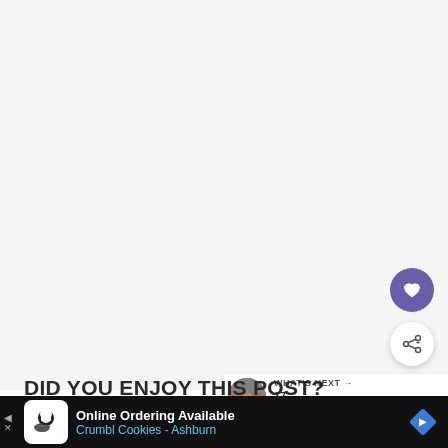[Figure (other): Large blank/white content area representing a blog post image placeholder]
[Figure (other): Heart/save button (purple circle with white heart icon)]
[Figure (other): Share button (white circle with share icon)]
[Figure (other): What's Next thumbnail bar showing '17 Breathtakin...' with a mountain landscape thumbnail]
DID YOU ENJOY THIS POST? PIN IT FOR LATER
[Figure (screenshot): Advertisement bar: Online Ordering Available - Crumbl Cookies - Ashburn]
[Figure (other): Close/X button on ad bar right side]